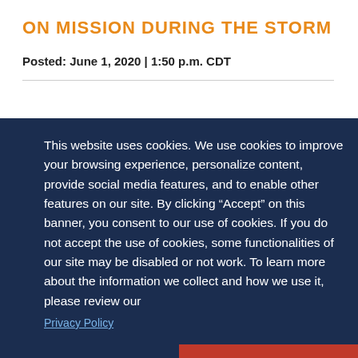ON MISSION DURING THE STORM
Posted: June 1, 2020 | 1:50 p.m. CDT
This website uses cookies. We use cookies to improve your browsing experience, personalize content, provide social media features, and to enable other features on our site. By clicking “Accept” on this banner, you consent to our use of cookies. If you do not accept the use of cookies, some functionalities of our site may be disabled or not work. To learn more about the information we collect and how we use it, please review our
Privacy Policy
Decline
Accept
GLOBAL CONVERSATIONS ON